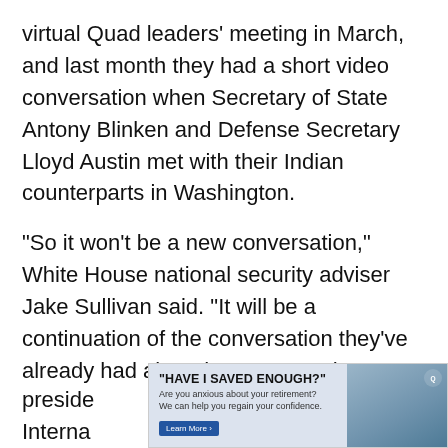virtual Quad leaders' meeting in March, and last month they had a short video conversation when Secretary of State Antony Blinken and Defense Secretary Lloyd Austin met with their Indian counterparts in Washington.
“So it won’t be a new conversation,” White House national security adviser Jake Sullivan said. “It will be a continuation of the conversation they’ve already had about how we see the picture in Ukraine and the impacts of Russia’s brutal invasion of Ukraine on a wider set of concerns in the world.”
While Biden and Modi may avoid public confrontation over how to respond to Russia’s aggression, the issue remains a major one as the U.S. and allies are looking to tighten the pressure on Putin., said Michael Green, senior vice preside
Interna
[Figure (other): Advertisement overlay: '"HAVE I SAVED ENOUGH?"' with subtext 'Are you anxious about your retirement? We can help you regain your confidence.' and a Learn More button, plus a photo of an older couple.]